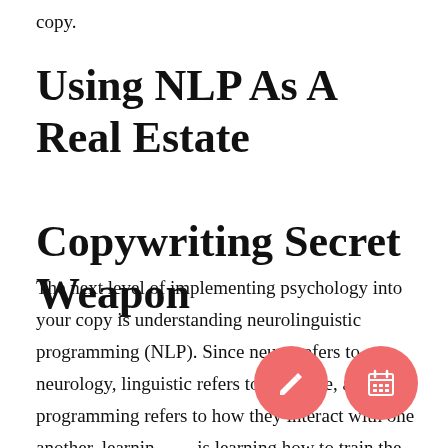copy.
Using NLP As A Real Estate Copywriting Secret Weapon
The next level of implementing psychology into your copy is understanding neurolinguistic programming (NLP). Since neuro refers to neurology, linguistic refers to language, and programming refers to how they interact with one another, learning is learning how to train the mind with wo…